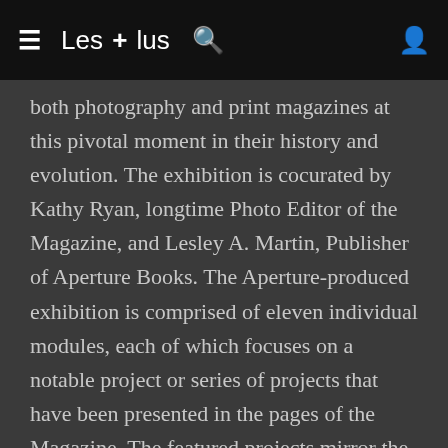≡  Les + lus  🔍  👤
both photography and print magazines at this pivotal moment in their history and evolution. The exhibition is cocurated by Kathy Ryan, longtime Photo Editor of the Magazine, and Lesley A. Martin, Publisher of Aperture Books. The Aperture-produced exhibition is comprised of eleven individual modules, each of which focuses on a notable project or series of projects that have been presented in the pages of the Magazine. The featured projects mirror the Magazine's eclecticism, presenting seminal examples of reportage, portraiture, as well as fine art photography. Using visual mate...